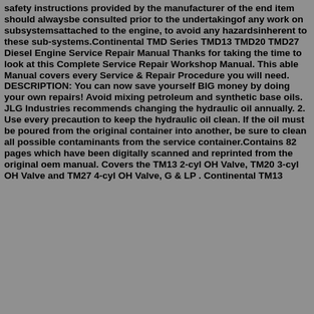safety instructions provided by the manufacturer of the end item should alwaysbe consulted prior to the undertakingof any work on subsystemsattached to the engine, to avoid any hazardsinherent to these sub-systems.Continental TMD Series TMD13 TMD20 TMD27 Diesel Engine Service Repair Manual Thanks for taking the time to look at this Complete Service Repair Workshop Manual. This able Manual covers every Service & Repair Procedure you will need. DESCRIPTION: You can now save yourself BIG money by doing your own repairs! Avoid mixing petroleum and synthetic base oils. JLG Industries recommends changing the hydraulic oil annually. 2. Use every precaution to keep the hydraulic oil clean. If the oil must be poured from the original container into another, be sure to clean all possible contaminants from the service container.Contains 82 pages which have been digitally scanned and reprinted from the original oem manual. Covers the TM13 2-cyl OH Valve, TM20 3-cyl OH Valve and TM27 4-cyl OH Valve, G & LP . Continental TM13